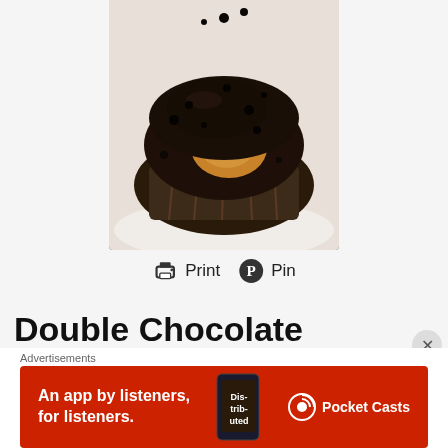[Figure (photo): Close-up photo of a double chocolate banana muffin broken open showing the inside, on a white plate, viewed from above]
🖨 Print  📌 Pin
Double Chocolate Banana Muffins (Eggless recipe)
Easy breakfast or a decadent dessert, these delicious banana muffins will work both ways.
Course  Breakfast, Dessert, Snack
Prep Time  15 minutes
Baking time  18 minutes
Advertisements
[Figure (other): Pocket Casts advertisement banner: red background with text 'An app by listeners, for listeners.' and Pocket Casts logo, with a phone showing the app]